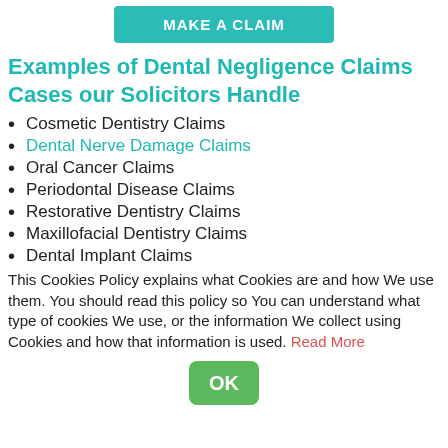[Figure (other): Teal 'MAKE A CLAIM' button at the top of the page]
Examples of Dental Negligence Claims Cases our Solicitors Handle
Cosmetic Dentistry Claims
Dental Nerve Damage Claims
Oral Cancer Claims
Periodontal Disease Claims
Restorative Dentistry Claims
Maxillofacial Dentistry Claims
Dental Implant Claims
This Cookies Policy explains what Cookies are and how We use them. You should read this policy so You can understand what type of cookies We use, or the information We collect using Cookies and how that information is used. Read More
[Figure (other): Green 'OK' button at the bottom center]